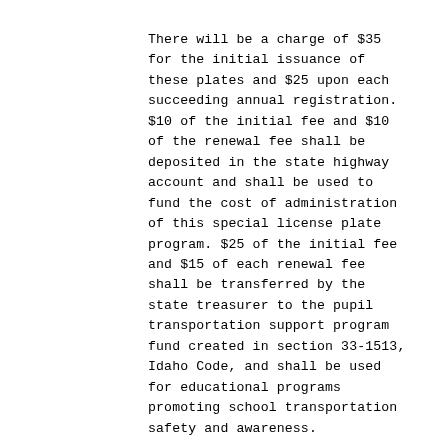There will be a charge of $35 for the initial issuance of these plates and $25 upon each succeeding annual registration. $10 of the initial fee and $10 of the renewal fee shall be deposited in the state highway account and shall be used to fund the cost of administration of this special license plate program. $25 of the initial fee and $15 of each renewal fee shall be transferred by the state treasurer to the pupil transportation support program fund created in section 33-1513, Idaho Code, and shall be used for educational programs promoting school transportation safety and awareness.